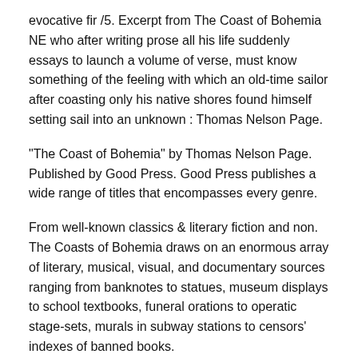evocative fir /5. Excerpt from The Coast of Bohemia NE who after writing prose all his life suddenly essays to launch a volume of verse, must know something of the feeling with which an old-time sailor after coasting only his native shores found himself setting sail into an unknown : Thomas Nelson Page.
"The Coast of Bohemia" by Thomas Nelson Page. Published by Good Press. Good Press publishes a wide range of titles that encompasses every genre.
From well-known classics & literary fiction and non. The Coasts of Bohemia draws on an enormous array of literary, musical, visual, and documentary sources ranging from banknotes to statues, museum displays to school textbooks, funeral orations to operatic stage-sets, murals in subway stations to censors' indexes of banned books.
It brings us into intimate contact with the ever changing details. In The Winter's Tale, Shakespeare gave the landlocked country of Bohemia a coastline--a famous and, to Czechs, typical example of foreigners' ignorance of the Czech homeland.